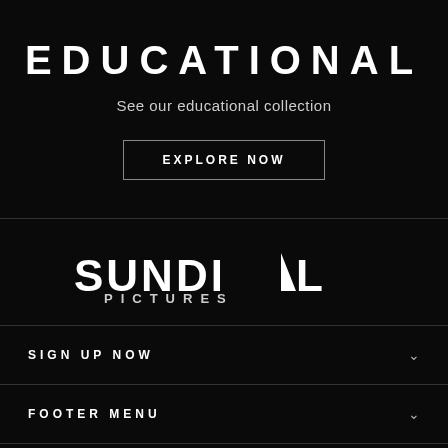EDUCATIONAL
See our educational collection
EXPLORE NOW
[Figure (logo): Sundial Pictures logo with white triangular sail icon between SUNDI and L, with PICTURES below]
SIGN UP NOW
FOOTER MENU
USD $